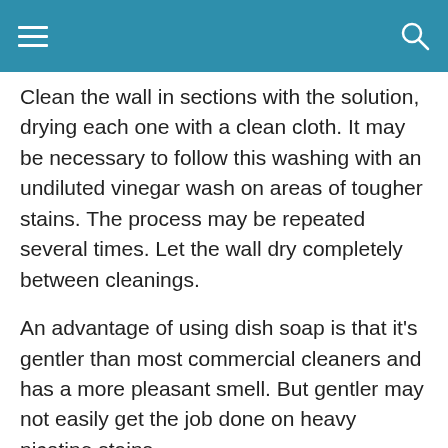Clean the wall in sections with the solution, drying each one with a clean cloth. It may be necessary to follow this washing with an undiluted vinegar wash on areas of tougher stains. The process may be repeated several times. Let the wall dry completely between cleanings.
An advantage of using dish soap is that it’s gentler than most commercial cleaners and has a more pleasant smell. But gentler may not easily get the job done on heavy nicotine stains.
5. Simple Green